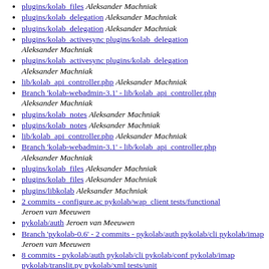plugins/kolab_files Aleksander Machniak
plugins/kolab_delegation Aleksander Machniak
plugins/kolab_delegation Aleksander Machniak
plugins/kolab_activesync plugins/kolab_delegation Aleksander Machniak
plugins/kolab_activesync plugins/kolab_delegation Aleksander Machniak
lib/kolab_api_controller.php Aleksander Machniak
Branch 'kolab-webadmin-3.1' - lib/kolab_api_controller.php Aleksander Machniak
plugins/kolab_notes Aleksander Machniak
plugins/kolab_notes Aleksander Machniak
lib/kolab_api_controller.php Aleksander Machniak
Branch 'kolab-webadmin-3.1' - lib/kolab_api_controller.php Aleksander Machniak
plugins/kolab_files Aleksander Machniak
plugins/kolab_files Aleksander Machniak
plugins/libkolab Aleksander Machniak
2 commits - configure.ac pykolab/wap_client tests/functional Jeroen van Meeuwen
pykolab/auth Jeroen van Meeuwen
Branch 'pykolab-0.6' - 2 commits - pykolab/auth pykolab/cli pykolab/imap Jeroen van Meeuwen
8 commits - pykolab/auth pykolab/cli pykolab/conf pykolab/imap pykolab/translit.py pykolab/xml tests/unit